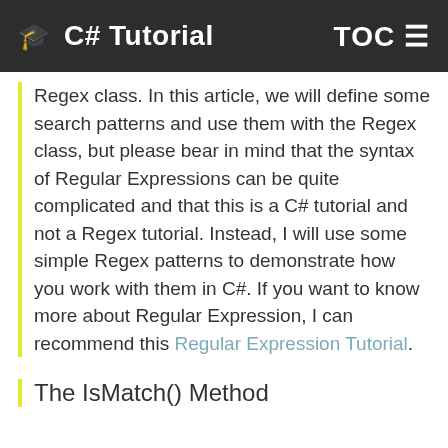🎓 C# Tutorial   TOC ☰
Regex class. In this article, we will define some search patterns and use them with the Regex class, but please bear in mind that the syntax of Regular Expressions can be quite complicated and that this is a C# tutorial and not a Regex tutorial. Instead, I will use some simple Regex patterns to demonstrate how you work with them in C#. If you want to know more about Regular Expression, I can recommend this Regular Expression Tutorial.
The IsMatch() Method